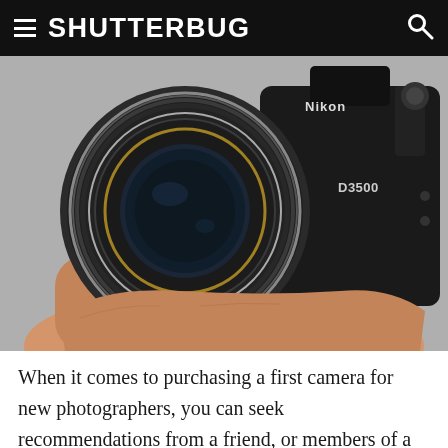≡  SHUTTERBUG  🔍
[Figure (photo): Close-up photo of a Nikon D3500 DSLR camera being held in a hand, showing the lens prominently from the front-left angle.]
When it comes to purchasing a first camera for new photographers, you can seek recommendations from a friend, or members of a camera club (if you belong to one), or the person behind the counter at